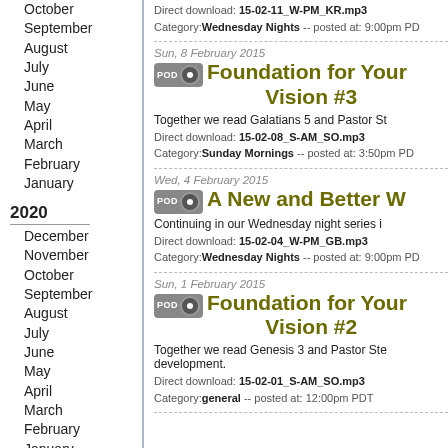October
September
August
July
June
May
April
March
February
January
2020
December
November
October
September
August
July
June
May
April
March
February
January
2019
December
November
October
September
August
July
June
Direct download: 15-02-11_W-PM_KR.mp3
Category:Wednesday Nights -- posted at: 9:00pm PDT
Sun, 8 February 2015
Foundation for Your Vision #3
Together we read Galatians 5 and Pastor St...
Direct download: 15-02-08_S-AM_SO.mp3
Category:Sunday Mornings -- posted at: 3:50pm PDT
Wed, 4 February 2015
A New and Better W...
Continuing in our Wednesday night series i...
Direct download: 15-02-04_W-PM_GB.mp3
Category:Wednesday Nights -- posted at: 9:00pm PDT
Sun, 1 February 2015
Foundation for Your Vision #2
Together we read Genesis 3 and Pastor Ste... development.
Direct download: 15-02-01_S-AM_SO.mp3
Category:general -- posted at: 12:00pm PDT